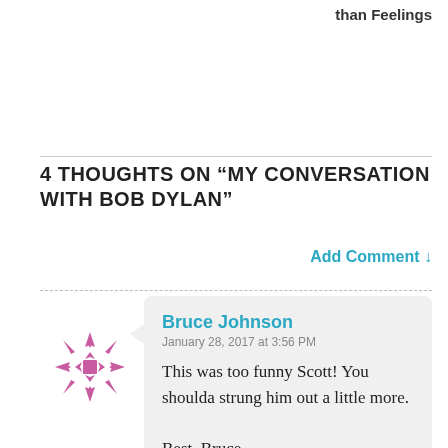than Feelings
4 THOUGHTS ON “MY CONVERSATION WITH BOB DYLAN”
Add Comment ↓
Bruce Johnson
January 28, 2017 at 3:56 PM

This was too funny Scott! You shoulda strung him out a little more.

Best, Bruce

★ Like
Reply